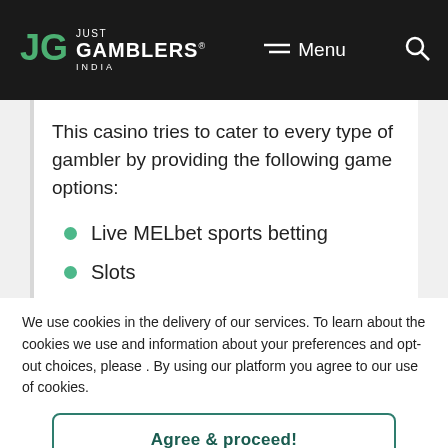Just Gamblers India — Menu
This casino tries to cater to every type of gambler by providing the following game options:
Live MELbet sports betting
Slots
We use cookies in the delivery of our services. To learn about the cookies we use and information about your preferences and opt-out choices, please . By using our platform you agree to our use of cookies.